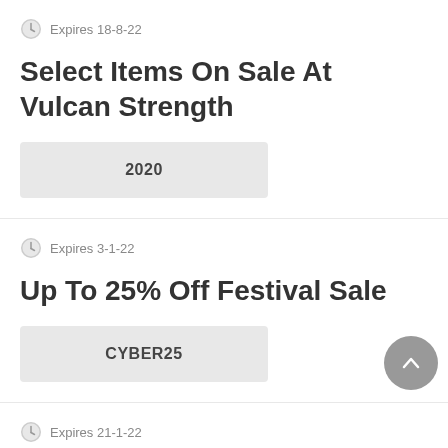Expires 18-8-22
Select Items On Sale At Vulcan Strength
2020
Expires 3-1-22
Up To 25% Off Festival Sale
CYBER25
Expires 21-1-22